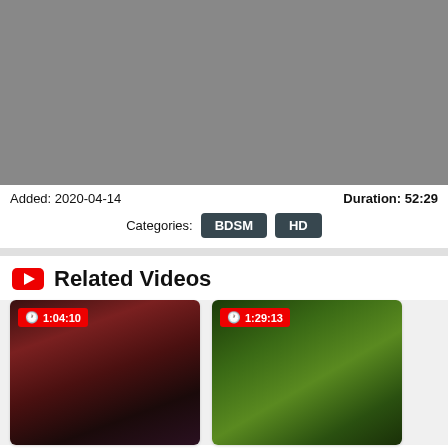[Figure (screenshot): Gray video player placeholder area]
Added: 2020-04-14
Duration: 52:29
Categories: BDSM HD
Related Videos
[Figure (photo): Thumbnail 1 with duration badge 1:04:10 showing a woman with red hair and red lipstick]
[Figure (photo): Thumbnail 2 with duration badge 1:29:13 showing a blonde woman outdoors in a forest]